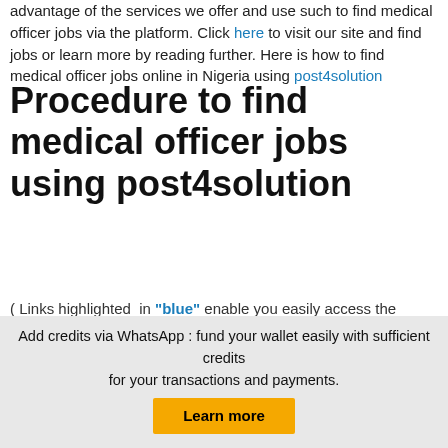advantage of the services we offer and use such to find medical officer jobs via the platform. Click here to visit our site and find jobs or learn more by reading further. Here is how to find medical officer jobs online in Nigeria using post4solution
Procedure to find medical officer jobs using post4solution
( Links highlighted in "blue" enable you easily access the concerned pages. )
Visit www.post4solution.com
Register
Login
Add credits via WhatsApp : fund your wallet easily with sufficient credits for your transactions and payments.
Learn more